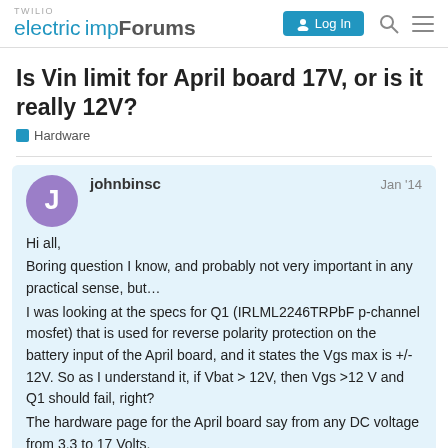TWILIO electric imp Forums — Log In
Is Vin limit for April board 17V, or is it really 12V?
Hardware
johnbinsc — Jan '14

Hi all,
Boring question I know, and probably not very important in any practical sense, but…
I was looking at the specs for Q1 (IRLML2246TRPbF p-channel mosfet) that is used for reverse polarity protection on the battery input of the April board, and it states the Vgs max is +/- 12V. So as I understand it, if Vbat > 12V, then Vgs >12 V and Q1 should fail, right?
The hardware page for the April board say from any DC voltage from 3.3 to 17 Volts,
1 / 5